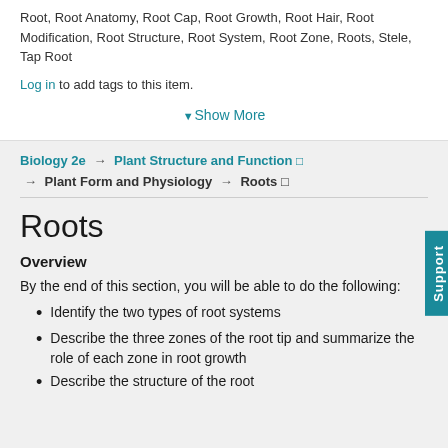Root, Root Anatomy, Root Cap, Root Growth, Root Hair, Root Modification, Root Structure, Root System, Root Zone, Roots, Stele, Tap Root
Log in to add tags to this item.
▾Show More
Biology 2e → Plant Structure and Function ▣ → Plant Form and Physiology → Roots ▣
Roots
Overview
By the end of this section, you will be able to do the following:
Identify the two types of root systems
Describe the three zones of the root tip and summarize the role of each zone in root growth
Describe the structure of the root